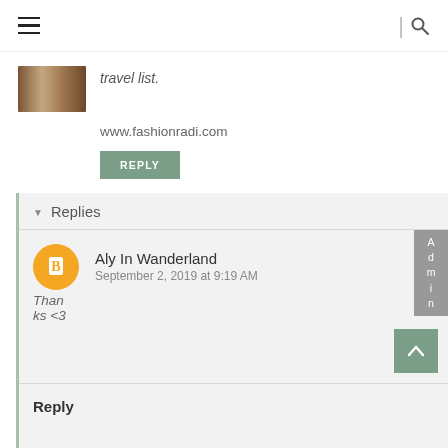travel list.
www.fashionradi.com
REPLY
Replies
[Figure (other): User avatar - orange circle with white blogger B icon]
Admin
Aly In Wanderland
September 2, 2019 at 9:19 AM
Thanks <3
Reply